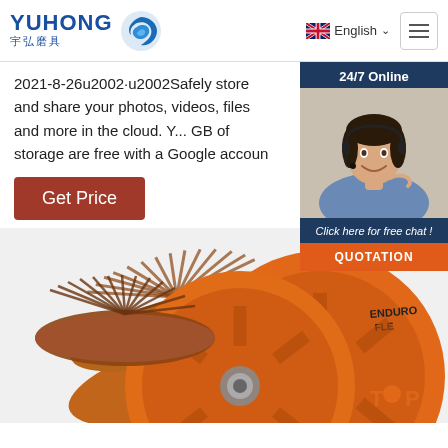YUHONG 宇弘磨具 | English | Menu
2021-8-26u2002·u2002Safely store and share your photos, videos, files and more in the cloud. Y... GB of storage are free with a Google account.
Get Price
[Figure (photo): Customer service representative with headset, 24/7 Online chat widget with QUOTATION button]
[Figure (photo): Two orange Enduro Fle flap discs/abrasive grinding wheels with brown flaps]